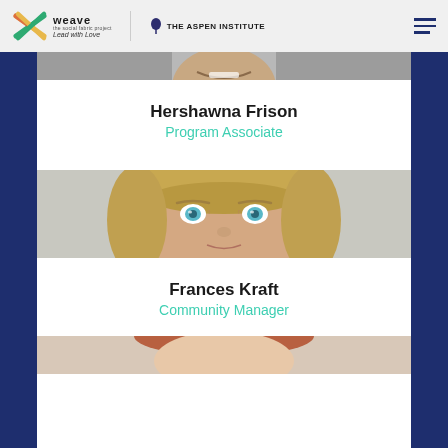weave the social fabric project — Lead with Love | THE ASPEN INSTITUTE
[Figure (photo): Bottom portion of a photo of Hershawna Frison, showing the top of her head and a smiling face]
Hershawna Frison
Program Associate
[Figure (photo): Close-up portrait photo of Frances Kraft, a woman with blonde hair and blue/green eyes looking directly at the camera]
Frances Kraft
Community Manager
[Figure (photo): Top portion of a third person's photo, showing someone with glasses and reddish hair]